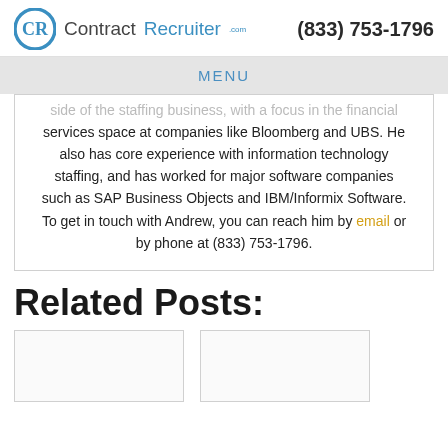ContractRecruiter.com  (833) 753-1796
MENU
side of the staffing business, with a focus in the financial services space at companies like Bloomberg and UBS. He also has core experience with information technology staffing, and has worked for major software companies such as SAP Business Objects and IBM/Informix Software. To get in touch with Andrew, you can reach him by email or by phone at (833) 753-1796.
Related Posts:
[Figure (other): Two blank card thumbnails for related posts]